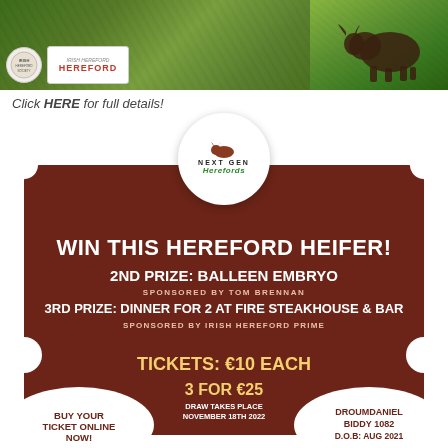[Figure (photo): Top banner with two photos: left shows green foliage with Hereford Society logos overlaid, right shows a Hereford cow in a green field]
Click HERE for full details!
[Figure (infographic): Brown raffle ticket styled card with Next Gen Herefords logo circle at top, containing text about winning a Hereford Heifer raffle with ticket prices and prize details]
WIN THIS HEREFORD HEIFER!
2ND PRIZE: BALLEEN EMBRYO
SPONSORED BY TOM BRENNAN
3RD PRIZE: DINNER FOR 2 AT FIRE STEAKHOUSE & BAR
SPONSORED BY IRISH HEREFORD PRIME
TICKETS: €10 EACH
3 FOR €25
DRAW TAKES PLACE NOVEMBER 18TH 2022
BUY YOUR TICKET ONLINE NOW!
DROUMDANIEL BIDDY 1082
D.O.B: AUG 2021